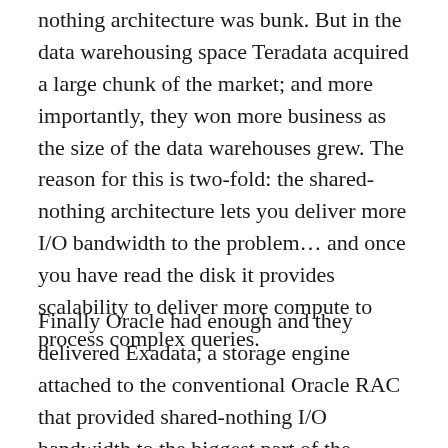nothing architecture was bunk. But in the data warehousing space Teradata acquired a large chunk of the market; and more importantly, they won more business as the size of the data warehouses grew. The reason for this is two-fold: the shared-nothing architecture lets you deliver more I/O bandwidth to the problem… and once you have read the disk it provides scalability to deliver more compute to process complex queries.
Finally Oracle had enough and they delivered Exadata, a storage engine attached to the conventional Oracle RAC that provided shared-nothing I/O bandwidth to the biggest part of the problem… the full file scan of big fact